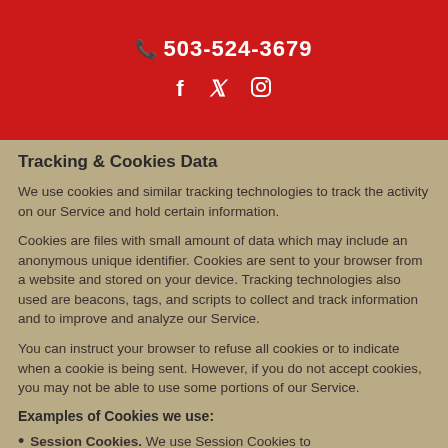503-524-3679
Tracking & Cookies Data
We use cookies and similar tracking technologies to track the activity on our Service and hold certain information.
Cookies are files with small amount of data which may include an anonymous unique identifier. Cookies are sent to your browser from a website and stored on your device. Tracking technologies also used are beacons, tags, and scripts to collect and track information and to improve and analyze our Service.
You can instruct your browser to refuse all cookies or to indicate when a cookie is being sent. However, if you do not accept cookies, you may not be able to use some portions of our Service.
Examples of Cookies we use:
Session Cookies. We use Session Cookies to